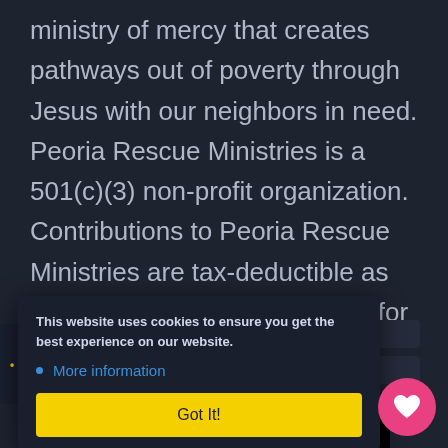ministry of mercy that creates pathways out of poverty through Jesus with our neighbors in need. Peoria Rescue Ministries is a 501(c)(3) non-profit organization. Contributions to Peoria Rescue Ministries are tax-deductible as allowed by law. We thank you for your support.
[Figure (screenshot): Cookie consent banner overlay on dark background website. Banner contains text 'This website uses cookies to ensure you get the best experience on our website.' with a blue 'More information' link item, and a yellow 'Got It!' button. Below is a 'Go to top' bar and a pink heart/favorite circle button at bottom right.]